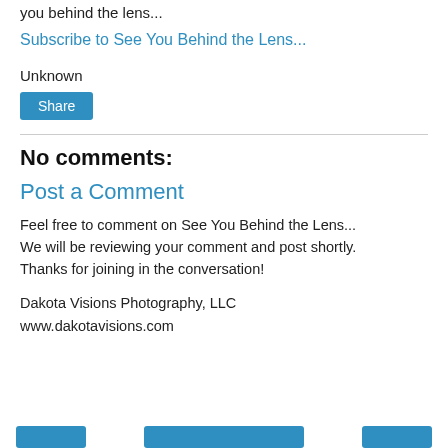you behind the lens...
Subscribe to See You Behind the Lens...
Unknown
Share
No comments:
Post a Comment
Feel free to comment on See You Behind the Lens... We will be reviewing your comment and post shortly. Thanks for joining in the conversation!
Dakota Visions Photography, LLC
www.dakotavisions.com